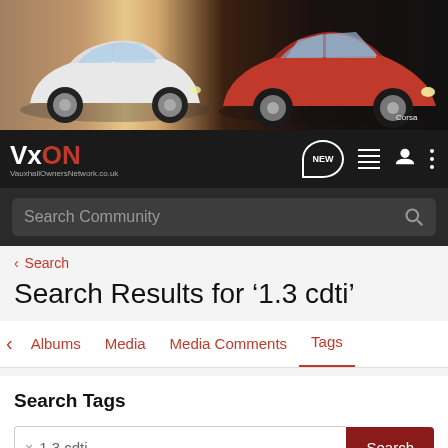[Figure (photo): Banner image showing two Vauxhall cars — a white Astra on the left and a red Corsa on the right — against an urban street background]
[Figure (logo): VxON VauxhallOwnersNetwork.co.uk logo in white and red on dark navigation bar]
Search Community (search bar)
< Search
Search Results for '1.3 cdti'
< Albums   Media   Media Comments   Tags
Search Tags
× 1.3 cdti   Search